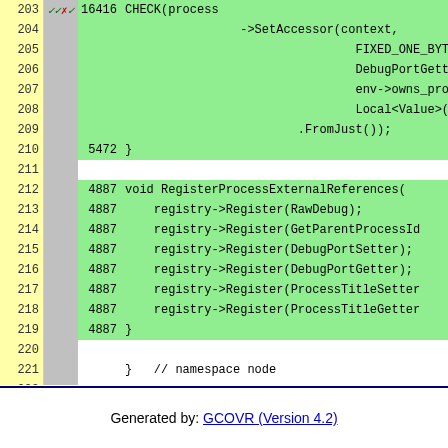| Line | Mark | Count | Code |
| --- | --- | --- | --- |
| 203 | ✓✓✗✓ | 16416 | CHECK(process |
| 204 |  |  |                 ->SetAccessor(context, |
| 205 |  |  |                                 FIXED_ONE_BYT |
| 206 |  |  |                                 DebugPortGett |
| 207 |  |  |                                 env->owns_pro |
| 208 |  |  |                                 Local<Value>( |
| 209 |  |  |                 .FromJust()); |
| 210 |  | 5472 | } |
| 211 |  |  |  |
| 212 |  | 4887 | void RegisterProcessExternalReferences( |
| 213 |  | 4887 |   registry->Register(RawDebug); |
| 214 |  | 4887 |   registry->Register(GetParentProcessId |
| 215 |  | 4887 |   registry->Register(DebugPortSetter); |
| 216 |  | 4887 |   registry->Register(DebugPortGetter); |
| 217 |  | 4887 |   registry->Register(ProcessTitleSetter |
| 218 |  | 4887 |   registry->Register(ProcessTitleGetter |
| 219 |  | 4887 | } |
| 220 |  |  |  |
| 221 |  |  | }   // namespace node |
| 222 |  |  |  |
| 223 |  | 4887 | NODE_MODULE_EXTERNAL_REFERENCE(process_ |
| 224 |  |  |                               node::Re |
Generated by: GCOVR (Version 4.2)